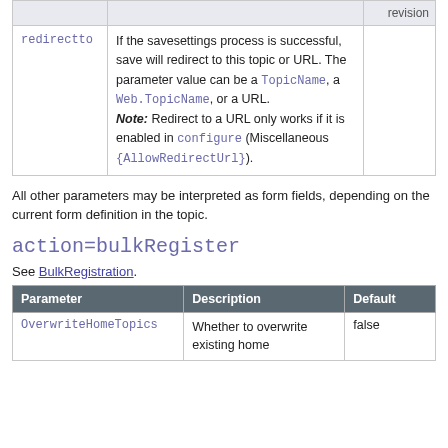|  |  | revision |
| --- | --- | --- |
| redirectto | If the savesettings process is successful, save will redirect to this topic or URL. The parameter value can be a TopicName, a Web.TopicName, or a URL.
Note: Redirect to a URL only works if it is enabled in configure (Miscellaneous {AllowRedirectUrl}). |  |
All other parameters may be interpreted as form fields, depending on the current form definition in the topic.
action=bulkRegister
See BulkRegistration.
| Parameter | Description | Default |
| --- | --- | --- |
| OverwriteHomeTopics | Whether to overwrite existing home | false |